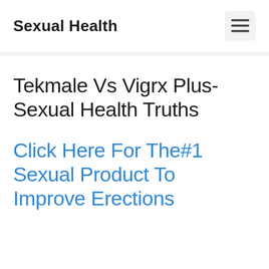Sexual Health
Tekmale Vs Vigrx Plus- Sexual Health Truths
Click Here For The#1 Sexual Product To Improve Erections